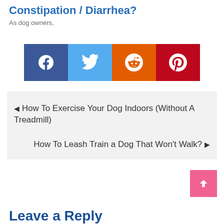Constipation / Diarrhea?
As dog owners,
[Figure (infographic): Social share buttons: Facebook (blue), Twitter (light blue), Reddit (orange), Pinterest (red)]
◄ How To Exercise Your Dog Indoors (Without A Treadmill)
How To Leash Train a Dog That Won't Walk? ►
Leave a Reply